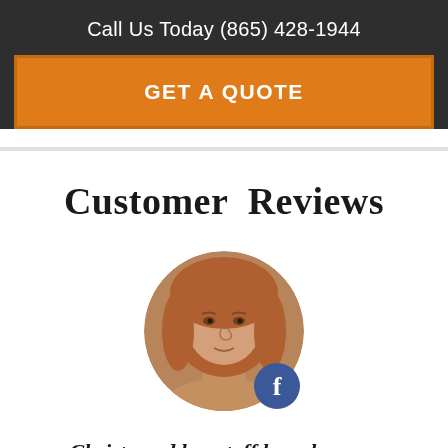Call Us Today (865) 428-1944
GET A QUOTE
Customer Reviews
[Figure (photo): Circular profile photo of a woman with auburn hair, with a Facebook badge icon overlaid at the bottom right of the circle.]
Christy and her staff have been so